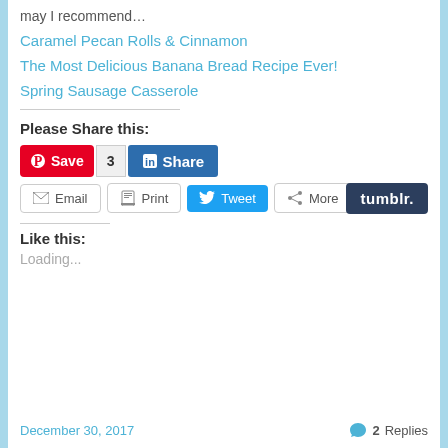may I recommend…
Caramel Pecan Rolls & Cinnamon
The Most Delicious Banana Bread Recipe Ever!
Spring Sausage Casserole
Please Share this:
[Figure (screenshot): Social share buttons: Pinterest Save, count 3, LinkedIn Share, Tumblr, Email, Print, Tweet, More]
Like this:
Loading...
December 30, 2017   2 Replies